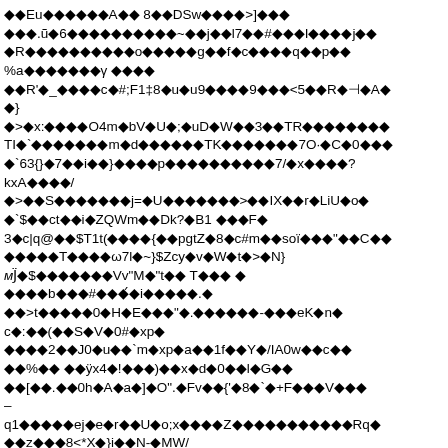Corrupted/encoded binary text content rendered as garbled characters with diamond replacement symbols throughout the page.